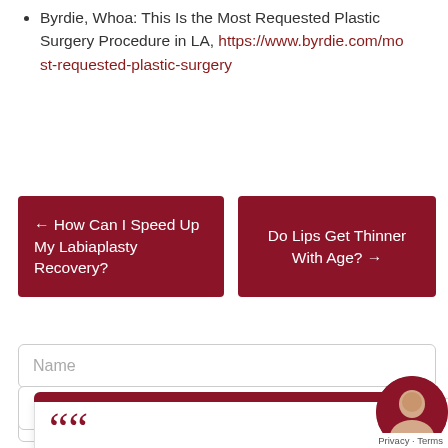Byrdie, Whoa: This Is the Most Requested Plastic Surgery Procedure in LA, https://www.byrdie.com/most-requested-plastic-surgery
← How Can I Speed Up My Labiaplasty Recovery?
Do Lips Get Thinner With Age? →
Name
[Figure (screenshot): Review carousel popup with quote marks, 5-star rating, reviewer name Lisa, view post link with Yelp logo, navigation arrows, and a chat bubble with a woman's photo in bottom right corner. Review text: Before I start my review I'd like to give a background of my health history. I have severe asthma and...]